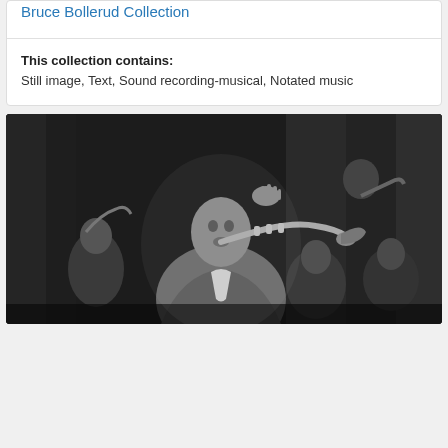Bruce Bollerud Collection
This collection contains:
Still image, Text, Sound recording-musical, Notated music
[Figure (photo): Black and white photograph of a jazz band performing on stage. In the foreground, a man in a suit plays a trumpet with his hand raised. Behind him are other musicians, some playing brass instruments. The background shows draped curtains. Multiple performers are visible including musicians on the left and right sides of the frame.]